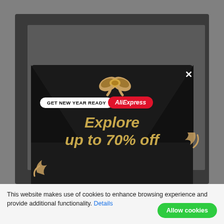[Figure (screenshot): AliExpress New Year popup ad on a website with gray browser background. Modal shows 'GET NEW YEAR READY AliExpress' badge, gift ribbon graphic, confetti, and text 'Explore up to 70% off' in gold italic font on dark background. A close X button is visible top right of modal.]
This website makes use of cookies to enhance browsing experience and provide additional functionality. Details
Allow cookies